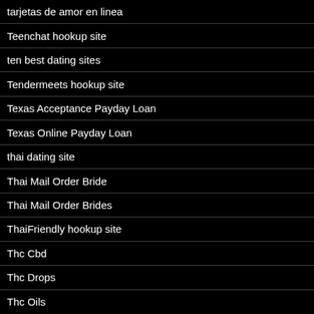tarjetas de amor en linea
Teenchat hookup site
ten best dating sites
Tendermeets hookup site
Texas Acceptance Payday Loan
Texas Online Payday Loan
thai dating site
Thai Mail Order Bride
Thai Mail Order Brides
ThaiFriendly hookup site
Thc Cbd
Thc Drops
Thc Oils